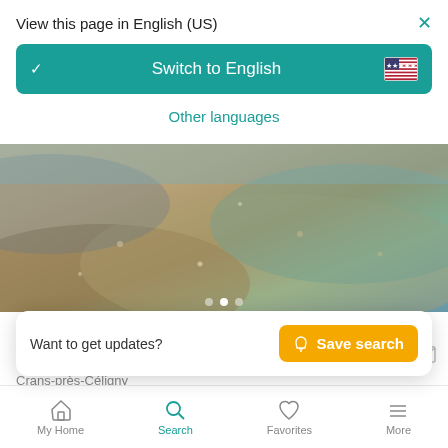View this page in English (US)
[Figure (screenshot): Switch to English button with teal background and US flag]
Other languages
[Figure (photo): Beach/water photo showing sandy shore and water]
Beautiful villa with panoramic lake views and private …
Crans-près-Céligny
Villa • 8 room…
MUR 575…
Want to get updates?  Save search
My Home   Search   Favorites   More